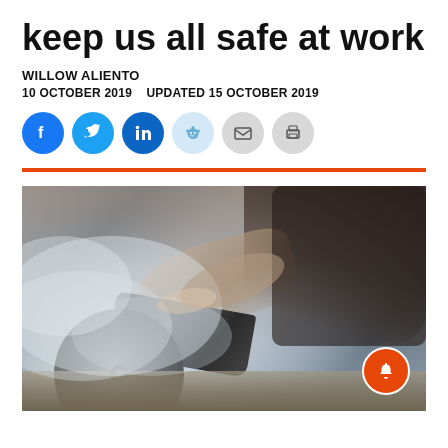keep us all safe at work
WILLOW ALIENTO
10 OCTOBER 2019    UPDATED 15 OCTOBER 2019
[Figure (other): Social sharing buttons: Facebook, Twitter, LinkedIn, Reddit, Email, Print]
[Figure (photo): A worker using an angle grinder on concrete or stone, creating a large cloud of dust. Two workers visible, close-up shot with dust filling the frame. A notification bell icon overlays the bottom-right corner.]